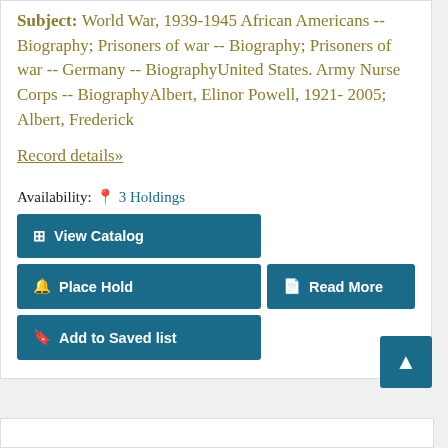Subject: World War, 1939-1945 African Americans -- Biography; Prisoners of war -- Biography; Prisoners of war -- Germany -- BiographyUnited States. Army Nurse Corps -- BiographyAlbert, Elinor Powell, 1921-2005; Albert, Frederick
Record details»
Availability: 3 Holdings
View Catalog
Place Hold
Read More
Add to Saved list